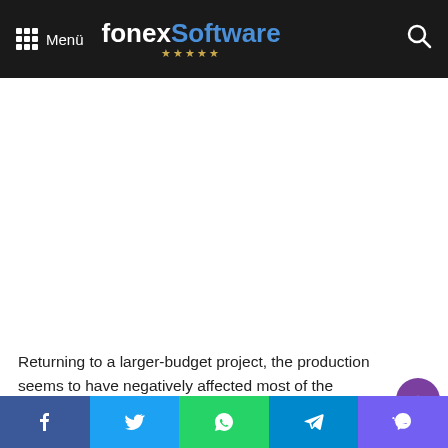Menü  fonexSoftware ★★★★★
[Figure (other): White advertisement/content placeholder area]
Returning to a larger-budget project, the production seems to have negatively affected most of the employees involved. Ken Levine,who allegedly likens himself to Christopher Nolan,doesn't seem to be managing his open-ended time check from Take Two very well either.
Social share bar: Facebook, Twitter, WhatsApp, Telegram, Viber